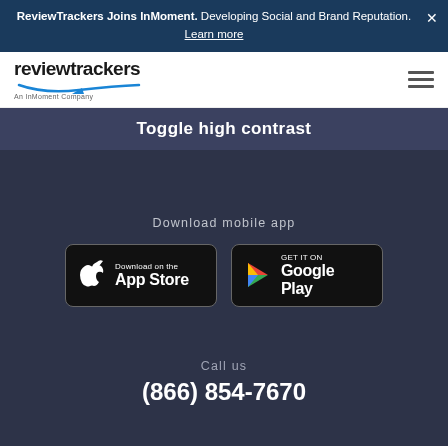ReviewTrackers Joins InMoment. Developing Social and Brand Reputation. Learn more
[Figure (logo): ReviewTrackers logo - An InMoment Company]
Toggle high contrast
Download mobile app
[Figure (other): Download on the App Store button]
[Figure (other): Get it on Google Play button]
Call us
(866) 854-7670